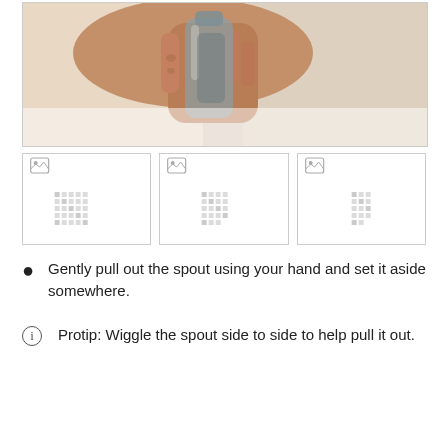[Figure (photo): A hand holding a small glass bottle or container, viewed from below/side, with a reflective surface and white background.]
[Figure (photo): Thumbnail image 1 - broken image placeholder with pixel pattern]
[Figure (photo): Thumbnail image 2 - broken image placeholder with pixel pattern]
[Figure (photo): Thumbnail image 3 - broken image placeholder with pixel pattern]
Gently pull out the spout using your hand and set it aside somewhere.
Protip: Wiggle the spout side to side to help pull it out.